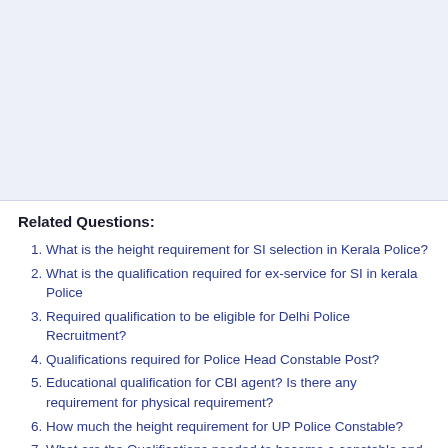[Figure (other): Advertisement or banner area with light blue-grey background]
Related Questions:
What is the height requirement for SI selection in Kerala Police?
What is the qualification required for ex-service for SI in kerala Police
Required qualification to be eligible for Delhi Police Recruitment?
Qualifications required for Police Head Constable Post?
Educational qualification for CBI agent? Is there any requirement for physical requirement?
How much the height requirement for UP Police Constable?
What are the Qualifications needed to become a constable and a Sub Inspector? -- [Most Discussed]
What is the eligibility to appear for PCS exam? I am a B.Arch 3rd...